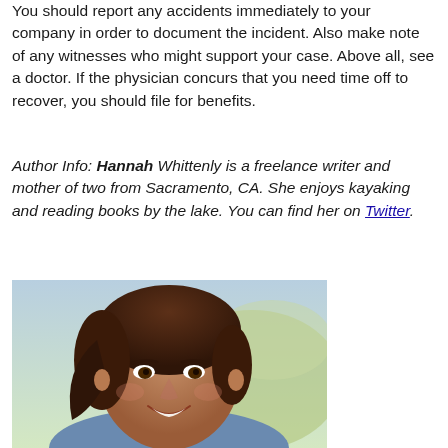You should report any accidents immediately to your company in order to document the incident. Also make note of any witnesses who might support your case. Above all, see a doctor. If the physician concurs that you need time off to recover, you should file for benefits.
Author Info: Hannah Whittenly is a freelance writer and mother of two from Sacramento, CA. She enjoys kayaking and reading books by the lake. You can find her on Twitter.
[Figure (photo): Portrait photo of a smiling woman with dark hair, photographed outdoors with a blurred background.]